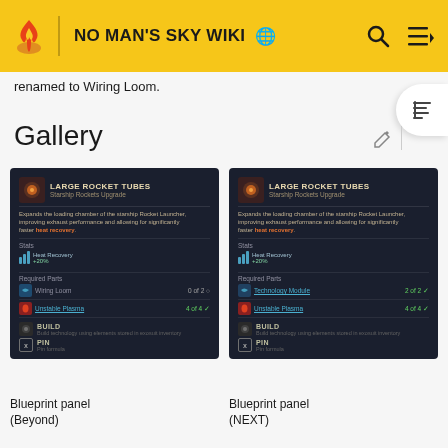NO MAN'S SKY WIKI
renamed to Wiring Loom.
Gallery
[Figure (screenshot): Blueprint panel for Large Rocket Tubes showing Starship Rockets Upgrade stats with Heat Recovery +20%, Required Parts: Wiring Loom 0 of 2, Unstable Plasma 4 of 4. BUILD and PIN options shown. (Beyond version)]
Blueprint panel
(Beyond)
[Figure (screenshot): Blueprint panel for Large Rocket Tubes showing Starship Rockets Upgrade stats with Heat Recovery +20%, Required Parts: Technology Module 2 of 2, Unstable Plasma 4 of 4. BUILD and PIN options shown. (NEXT version)]
Blueprint panel
(NEXT)